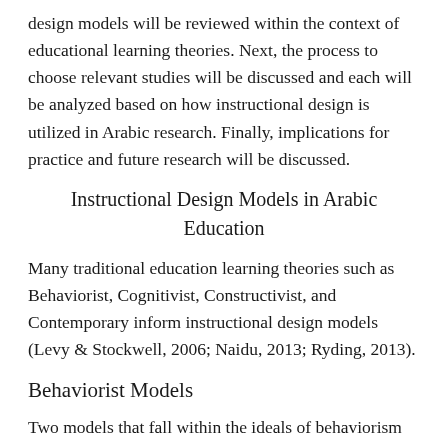design models will be reviewed within the context of educational learning theories. Next, the process to choose relevant studies will be discussed and each will be analyzed based on how instructional design is utilized in Arabic research. Finally, implications for practice and future research will be discussed.
Instructional Design Models in Arabic Education
Many traditional education learning theories such as Behaviorist, Cognitivist, Constructivist, and Contemporary inform instructional design models (Levy & Stockwell, 2006; Naidu, 2013; Ryding, 2013).
Behaviorist Models
Two models that fall within the ideals of behaviorism (Skinner, 1954) are The Dick and Carey (1968) and the ADDIE